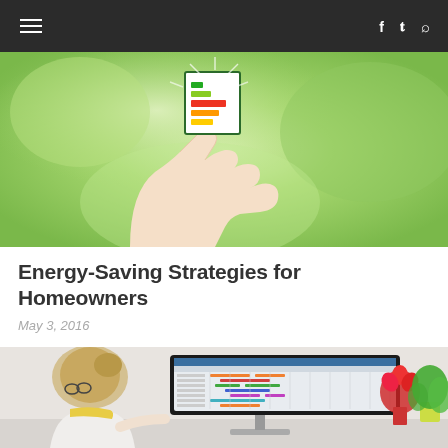☰  f  𝕥  🔍
[Figure (photo): A hand holding an energy efficiency rating card/label against a green blurred background. The card shows colored bars indicating energy ratings.]
Energy-Saving Strategies for Homeowners
May 3, 2016
[Figure (photo): A woman with blonde hair in a bun and glasses sitting at a desk looking at a large monitor displaying a Gantt chart / project management spreadsheet. There are plants and flowers in the background.]